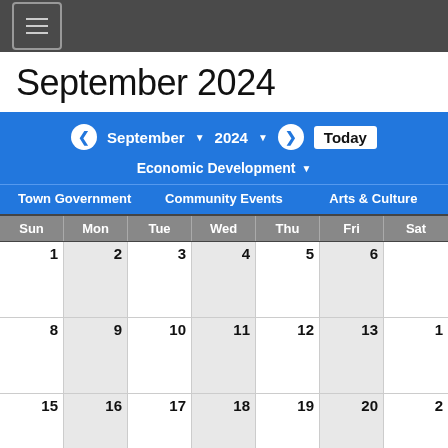Navigation bar with hamburger menu
September 2024
← September ▾ 2024 ▾ → Today
Economic Development ▾
Town Government   Community Events   Arts & Culture
| Sun | Mon | Tue | Wed | Thu | Fri | Sat |
| --- | --- | --- | --- | --- | --- | --- |
| 1 | 2 | 3 | 4 | 5 | 6 |  |
| 8 | 9 | 10 | 11 | 12 | 13 | 1 |
| 15 | 16 | 17 | 18 | 19 | 20 | 2 |